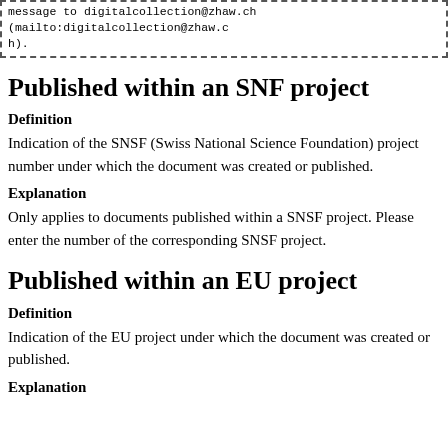message to digitalcollection@zhaw.ch (mailto:digitalcollection@zhaw.ch).
Published within an SNF project
Definition
Indication of the SNSF (Swiss National Science Foundation) project number under which the document was created or published.
Explanation
Only applies to documents published within a SNSF project. Please enter the number of the corresponding SNSF project.
Published within an EU project
Definition
Indication of the EU project under which the document was created or published.
Explanation